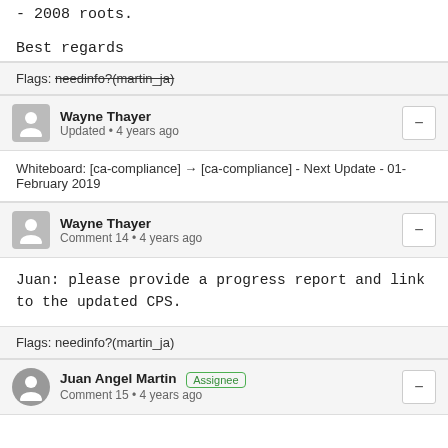- 2008 roots.
Best regards
Flags: needinfo?(martin_ja)
Wayne Thayer
Updated • 4 years ago
Whiteboard: [ca-compliance] → [ca-compliance] - Next Update - 01-February 2019
Wayne Thayer
Comment 14 • 4 years ago
Juan: please provide a progress report and link to the updated CPS.
Flags: needinfo?(martin_ja)
Juan Angel Martin
Assignee
Comment 15 • 4 years ago